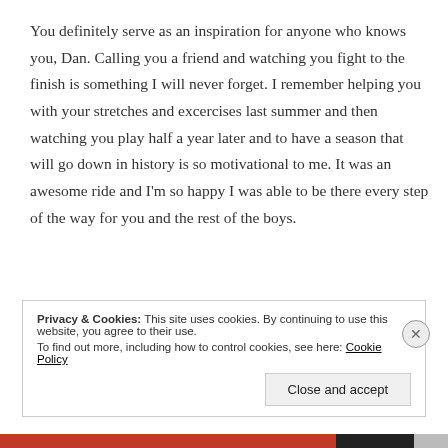You definitely serve as an inspiration for anyone who knows you, Dan. Calling you a friend and watching you fight to the finish is something I will never forget. I remember helping you with your stretches and excercises last summer and then watching you play half a year later and to have a season that will go down in history is so motivational to me. It was an awesome ride and I'm so happy I was able to be there every step of the way for you and the rest of the boys.
Privacy & Cookies: This site uses cookies. By continuing to use this website, you agree to their use.
To find out more, including how to control cookies, see here: Cookie Policy
Close and accept